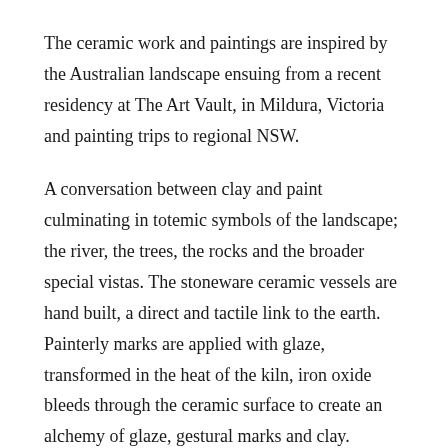The ceramic work and paintings are inspired by the Australian landscape ensuing from a recent residency at The Art Vault, in Mildura, Victoria and painting trips to regional NSW.
A conversation between clay and paint culminating in totemic symbols of the landscape; the river, the trees, the rocks and the broader special vistas. The stoneware ceramic vessels are hand built, a direct and tactile link to the earth. Painterly marks are applied with glaze, transformed in the heat of the kiln, iron oxide bleeds through the ceramic surface to create an alchemy of glaze, gestural marks and clay.
In recent times floods and rainfall have transformed the fragile semi arid landscape of inland Australia. This tension between the arid and abundant, layered histories, echoing...